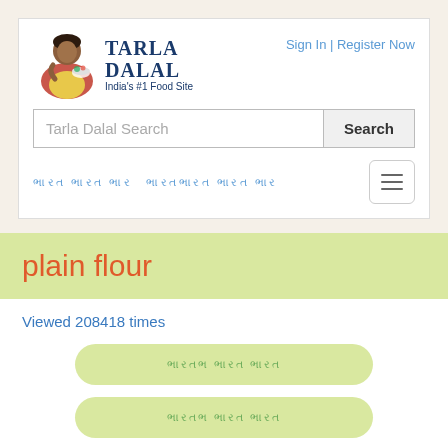[Figure (logo): Tarla Dalal website logo with woman cooking illustration and text 'TARLA DALAL India's #1 Food Site']
Sign In | Register Now
Tarla Dalal Search
Search
ભારત ભારત ભાર
ભારતભારત ભારત ભાર
plain flour
Viewed 208418 times
ભારતભ ભારત ભારત
ભારતભ ભારત ભારત
Also Known as
Maida, all-purpose flour, refined flour